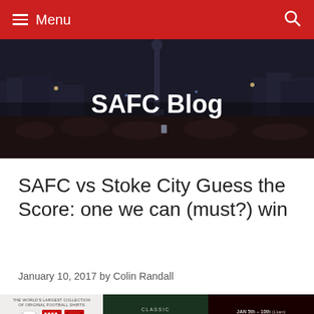Menu
SAFC Blog
SAFC vs Stoke City Guess the Score: one we can (must?) win
January 10, 2017 by Colin Randall
[Figure (infographic): Three advertisement banners: 1) World's largest collection of original football shirts with shirt graphics and VAUX branding. 2) Classic Football Shirts - Original. 3) JAN 5th-10th Use Code: CFS2017 20% SALE]